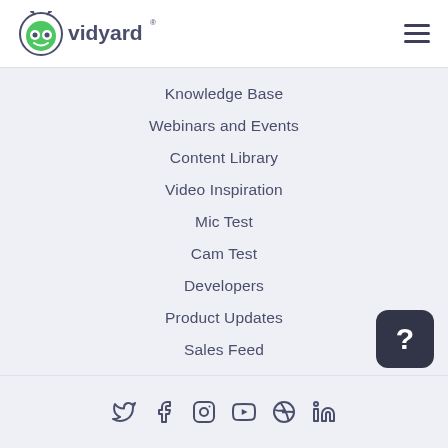[Figure (logo): Vidyard logo with green robot mascot and 'vidyard' wordmark with registered trademark symbol]
Knowledge Base
Webinars and Events
Content Library
Video Inspiration
Mic Test
Cam Test
Developers
Product Updates
Sales Feed
[Figure (illustration): Dark rounded square help/support button with white question mark]
Social media icons: Twitter, Facebook, Instagram, YouTube, Dribbble, LinkedIn